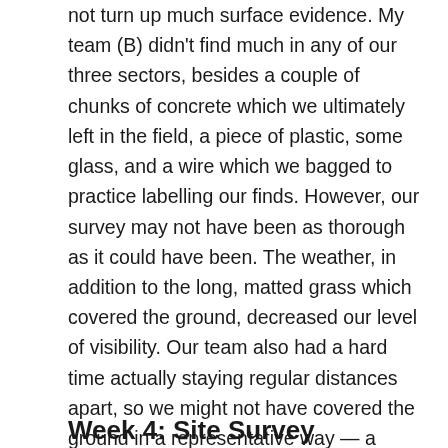not turn up much surface evidence. My team (B) didn't find much in any of our three sectors, besides a couple of chunks of concrete which we ultimately left in the field, a piece of plastic, some glass, and a wire which we bagged to practice labelling our finds. However, our survey may not have been as thorough as it could have been. The weather, in addition to the long, matted grass which covered the ground, decreased our level of visibility. Our team also had a hard time actually staying regular distances apart, so we might not have covered the ground in a representative way — a consideration which we should be sure to keep in mind if we do any further survey walking. While the majority of the survey did not result in any finds, it did give us a better idea of what survey work involves.
Week 4: Site Survey